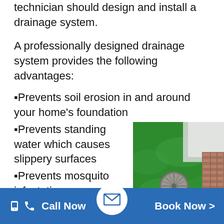technician should design and install a drainage system.
A professionally designed drainage system provides the following advantages:
▪Prevents soil erosion in and around your home's foundation
▪Prevents standing water which causes slippery surfaces
▪Prevents mosquito infestation
▪Protects plants and trees, helping them thrive
[Figure (photo): Photo of a lawn drainage grate (circular metal drain) set in green grass next to a wooden deck/decking.]
Call Now   [email icon]   Book Now >